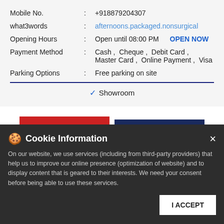| Mobile No. | : | +918879204307 |
| what3words | : | afternoons.packaged.nonsurgical |
| Opening Hours | : | Open until 08:00 PM   OPEN NOW |
| Payment Method | : | Cash ,  Cheque ,  Debit Card , Master Card ,  Online Payment ,  Visa |
| Parking Options | : | Free parking on site |
✓ Showroom
[Figure (screenshot): Two buttons: red CLICK TO CALL and dark blue DIRECTIONS]
Cookie Information
On our website, we use services (including from third-party providers) that help us to improve our online presence (optimization of website) and to display content that is geared to their interests. We need your consent before being able to use these services.
I ACCEPT